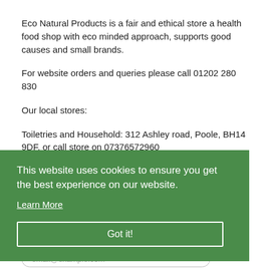Eco Natural Products is a fair and ethical store a health food shop with eco minded approach, supports good causes and small brands.
For website orders and queries please call 01202 280 830
Our local stores:
Toiletries and Household: 312 Ashley road, Poole, BH14 9DF, or call store on 07376572960
Food and Supplements: 227 Ashley road, Poole, BH14 9DS
Keep in touch
Sign up for our newsletter. Be the first to know about coupons and special promotions.
email@example.com
This website uses cookies to ensure you get the best experience on our website.
Learn More
Got it!